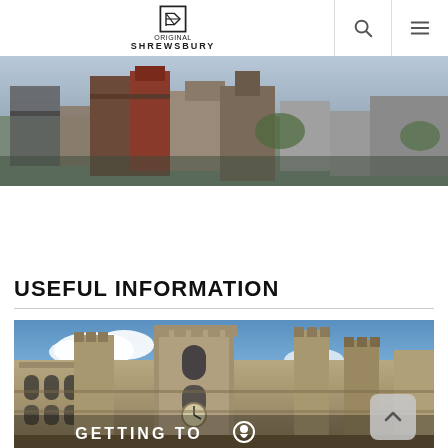ORIGINAL SHREWSBURY
[Figure (photo): Aerial view of Shrewsbury city rooftops with buildings and trees]
USEFUL INFORMATION
[Figure (photo): Gothic/medieval stone building with towers and clock, Shrewsbury, with text overlay 'GETTING TO']